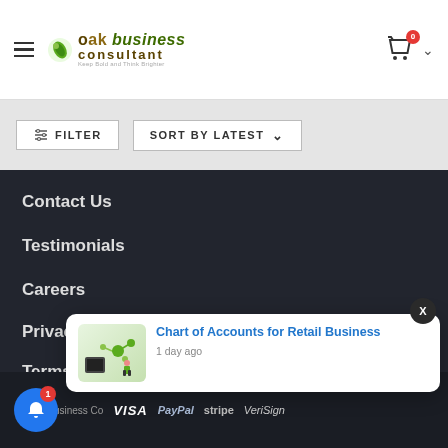[Figure (screenshot): Website header with hamburger menu, Oak Business Consultant logo, and shopping cart icon with badge showing 0]
FILTER
SORT BY LATEST
Contact Us
Testimonials
Careers
Privacy Policy
Terms of Service
© Oak Business Co...  VISA  PayPal  stripe  VeriSign
Chart of Accounts for Retail Business
1 day ago